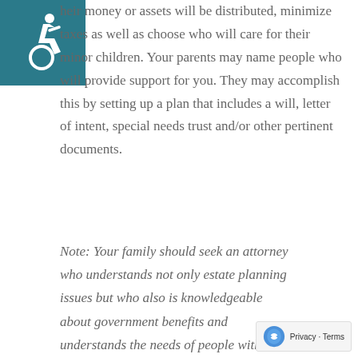[Figure (logo): Wheelchair accessibility icon in white on teal/dark cyan square background]
heir money or assets will be distributed, minimize taxes as well as choose who will care for their minor children. Your parents may name people who will provide support for you. They may accomplish this by setting up a plan that includes a will, letter of intent, special needs trust and/or other pertinent documents.
Note: Your family should seek an attorney who understands not only estate planning issues but who also is knowledgeable about government benefits and understands the needs of people with disabilities.
[Figure (logo): reCAPTCHA logo with Privacy - Terms text]